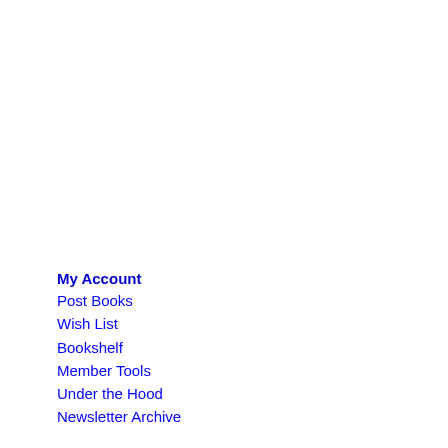My Account
Post Books
Wish List
Bookshelf
Member Tools
Under the Hood
Newsletter Archive
Search for a Book
Browse My Favorite Genres